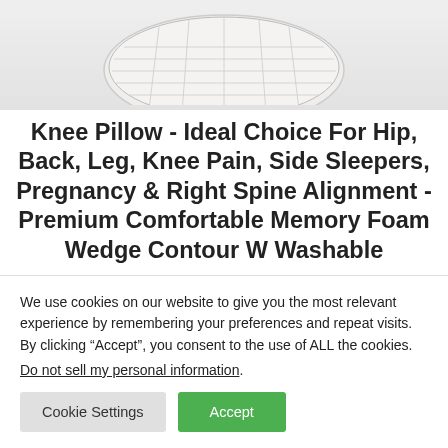[Figure (photo): Partial top view of a white quilted knee pillow on a light grey background]
Knee Pillow - Ideal Choice For Hip, Back, Leg, Knee Pain, Side Sleepers, Pregnancy & Right Spine Alignment - Premium Comfortable Memory Foam Wedge Contour W Washable
We use cookies on our website to give you the most relevant experience by remembering your preferences and repeat visits. By clicking “Accept”, you consent to the use of ALL the cookies.
Do not sell my personal information.